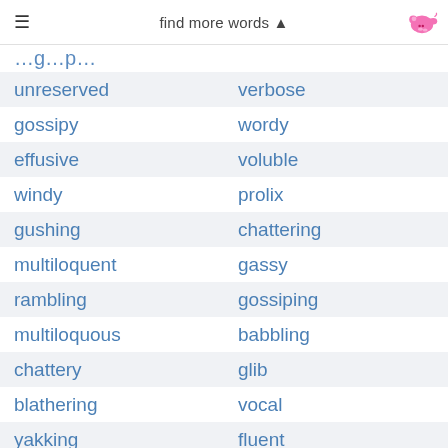find more words ▲
unreserved | verbose
gossipy | wordy
effusive | voluble
windy | prolix
gushing | chattering
multiloquent | gassy
rambling | gossiping
multiloquous | babbling
chattery | glib
blathering | vocal
yakking | fluent
profuse | gibbering
articulate | jabbering
loudmouthed | eloquent